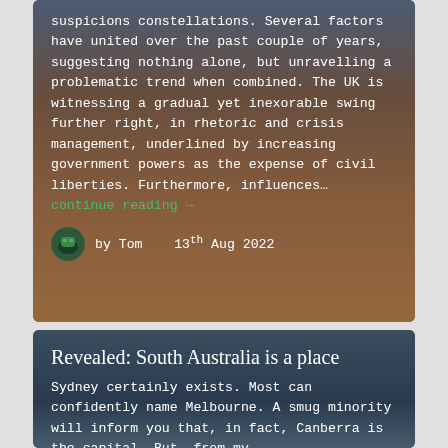suspicions constellations. Several factors have united over the past couple of years, suggesting nothing alone, but unravelling a problematic trend when combined. The UK is witnessing a gradual yet inexorable swing further right, in rhetoric and crisis management, underlined by increasing government powers as the expense of civil liberties. Furthermore, influences… continue reading →
by Tom   13th Aug 2022
Revealed: South Australia is a place
Sydney certainly exists. Most can confidently name Melbourne. A smug minority will inform you that, in fact, Canberra is the capital. But, from my